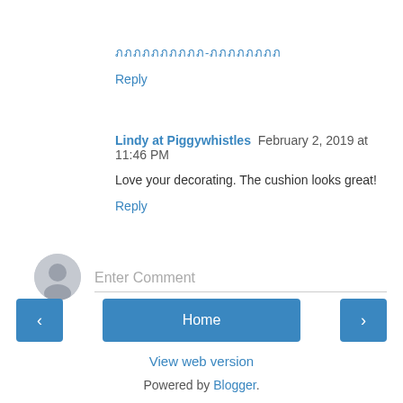ภภภภภภภภภภ-ภภภภภภภภ
Reply
Lindy at Piggywhistles  February 2, 2019 at 11:46 PM
Love your decorating. The cushion looks great!
Reply
Enter Comment
Home
View web version
Powered by Blogger.